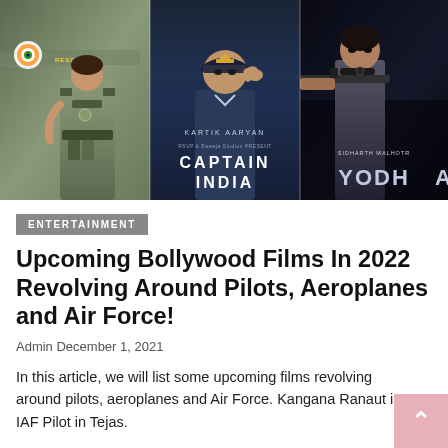[Figure (photo): Three Bollywood film poster collage: left panel shows a woman in Indian Air Force uniform in front of a fighter jet (Tejas/Kangana Ranaut), center panel shows Kartik Aaryan in pilot uniform for Captain India (RSVP & Baweja Studios), right panel shows Sidharth Malhotra holding a weapon for Yodha.]
ENTERTAINMENT
Upcoming Bollywood Films In 2022 Revolving Around Pilots, Aeroplanes and Air Force!
Admin December 1, 2021
In this article, we will list some upcoming films revolving around pilots, aeroplanes and Air Force. Kangana Ranaut is IAF Pilot in Tejas.